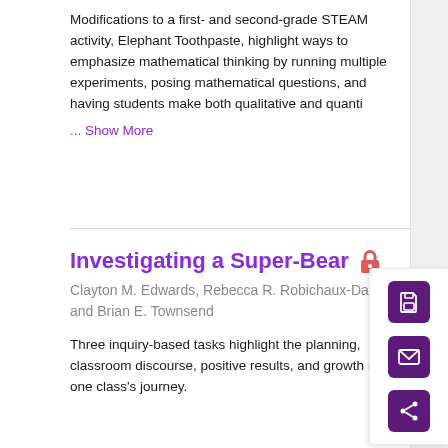Modifications to a first- and second-grade STEAM activity, Elephant Toothpaste, highlight ways to emphasize mathematical thinking by running multiple experiments, posing mathematical questions, and having students make both qualitative and quanti
... Show More
Investigating a Super-Bear
Clayton M. Edwards, Rebecca R. Robichaux-Davis, and Brian E. Townsend
Three inquiry-based tasks highlight the planning, classroom discourse, positive results, and growth in one class's journey.